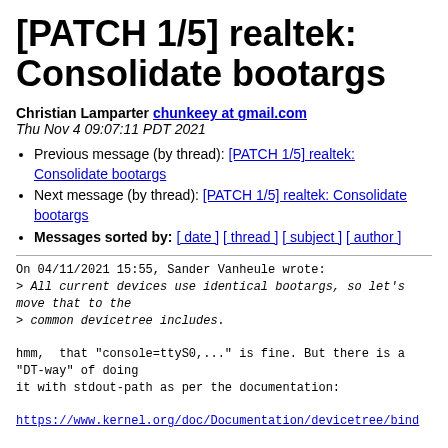[PATCH 1/5] realtek: Consolidate bootargs
Christian Lamparter chunkeey at gmail.com
Thu Nov 4 09:07:11 PDT 2021
Previous message (by thread): [PATCH 1/5] realtek: Consolidate bootargs
Next message (by thread): [PATCH 1/5] realtek: Consolidate bootargs
Messages sorted by: [ date ] [ thread ] [ subject ] [ author ]
On 04/11/2021 15:55, Sander Vanheule wrote:
> All current devices use identical bootargs, so let's move that to the
> common devicetree includes.

hmm,  that "console=ttyS0,..." is fine. But there is a "DT-way" of doing
it with stdout-path as per the documentation:

https://www.kernel.org/doc/Documentation/devicetree/bind

(Ideally this node or bootargs should be added by the